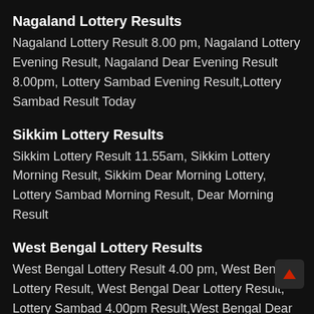Nagaland Lottery Results
Nagaland Lottery Result 8.00 pm, Nagaland Lottery Evening Result, Nagaland Dear Evening Result 8.00pm, Lottery Sambad Evening Result,Lottery Sambad Result Today
Sikkim Lottery Results
Sikkim Lottery Result 11.55am, Sikkim Lottery Morning Result, Sikkim Dear Morning Lottery, Lottery Sambad Morning Result, Dear Morning Result
West Bengal Lottery Results
West Bengal Lottery Result 4.00 pm, West Bengal Lottery Result, West Bengal Dear Lottery Result, Lottery Sambad 4.00pm Result,West Bengal Dear Lottery Result Today